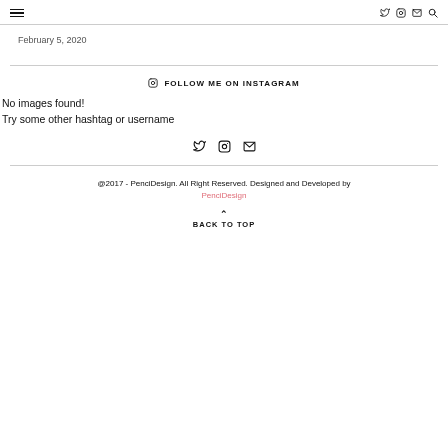Navigation header with hamburger menu and social icons (Twitter, Instagram, Email, Search)
February 5, 2020
FOLLOW ME ON INSTAGRAM
No images found!
Try some other hashtag or username
Social icons: Twitter, Instagram, Email
@2017 - PenciDesign. All Right Reserved. Designed and Developed by PenciDesign
BACK TO TOP